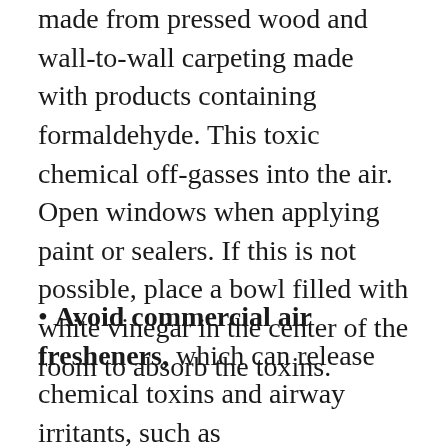made from pressed wood and wall-to-wall carpeting made with products containing formaldehyde. This toxic chemical off-gasses into the air. Open windows when applying paint or sealers. If this is not possible, place a bowl filled with white vinegar in the center of the room to absorb the toxins.
Avoid commercial air fresheners, which can release chemical toxins and airway irritants, such as dichlorobenzenes and xylene. Instead, use natural air fresheners like Ecco Mist, available at health food stores. The island Mist...